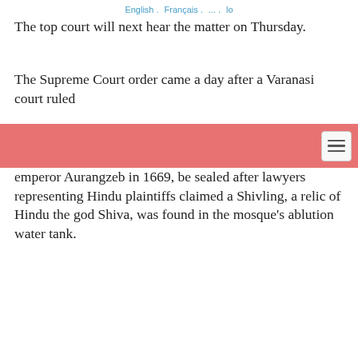English  Français  ... lo
The top court will next hear the matter on Thursday.
The Supreme Court order came a day after a Varanasi court ruled emperor Aurangzeb in 1669, be sealed after lawyers representing Hindu plaintiffs claimed a Shivling, a relic of Hindu the god Shiva, was found in the mosque's ablution water tank.
The Varanasi court had ordered a video survey of the complex last month after five Hindu women sought permission to perform religious rituals in a part of the mosque, claiming a Hindu temple once stood on the site.
Many Hindus hold the view that the Mughals demolished many Hindu temples to construct mosques.
The controversy is reminiscent of the dispute over the Babri Mosque in Uttar Pradesh's Ayodhya town, 220km (140 miles) away from Varanasi, which was demolished in 1992 by a Hindu mob.
Hindu groups believed the 16th-century mosque was built by